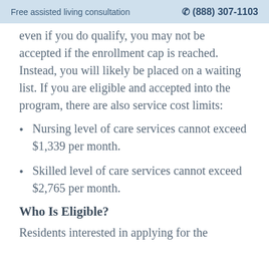Free assisted living consultation  ☎ (888) 307-1103
even if you do qualify, you may not be accepted if the enrollment cap is reached. Instead, you will likely be placed on a waiting list. If you are eligible and accepted into the program, there are also service cost limits:
Nursing level of care services cannot exceed $1,339 per month.
Skilled level of care services cannot exceed $2,765 per month.
Who Is Eligible?
Residents interested in applying for the